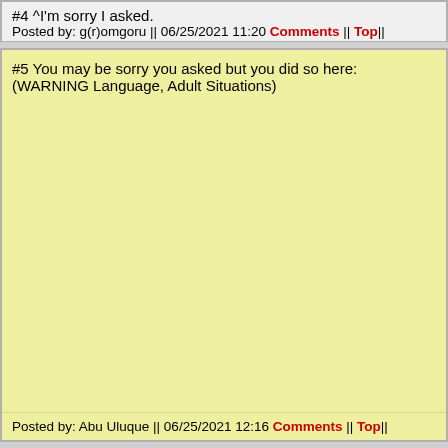#4  ^I'm sorry I asked.
Posted by: g(r)omgoru || 06/25/2021 11:20 Comments || Top||
#5  You may be sorry you asked but you did so here: (WARNING Language, Adult Situations)
Posted by: Abu Uluque || 06/25/2021 12:16 Comments || Top||